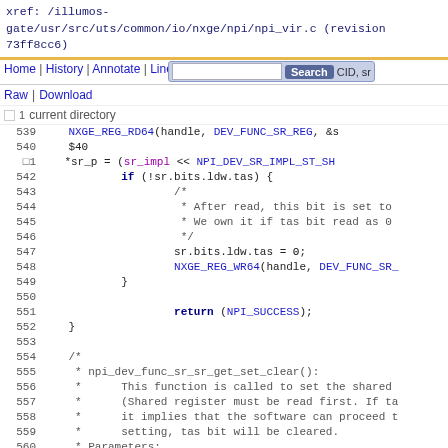xref: /illumos-gate/usr/src/uts/common/io/nxge/npi/npi_vir.c (revision 73ff8cc6)
Home | History | Annotate | Line# | Scopes# | Navigate# | Raw | Download | Search | CID, sr
current directory
539   NXGE_REG_RD64(handle, DEV_FUNC_SR_REG, &s
540   $40
541  1  *sr_p = (sr_impl << NPI_DEV_SR_IMPL_ST_SH
542         if (!sr.bits.ldw.tas) {
543                 /*
544                  * After read, this bit is set to
545                  * We own it if tas bit read as 0
546                  */
547                 sr.bits.ldw.tas = 0;
548                 NXGE_REG_WR64(handle, DEV_FUNC_SR_
549         }
550 
551                 return (NPI_SUCCESS);
552     }
553 
554     /*
555      * npi_dev_func_sr_sr_get_set_clear():
556      *       This function is called to set the shared
557      *       (Shared register must be read first. If ta
558      *       it implies that the software can proceed t
559      *       setting, tas bit will be cleared.
560      * Parameters:
561      *       handle              - NPI handle
562      *       impl_sr             - shared value to set (on
563      *                            implementation specific